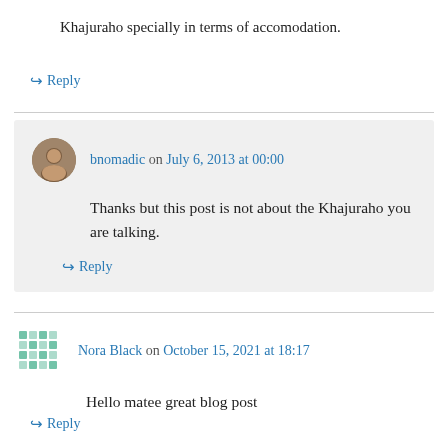Khajuraho specially in terms of accomodation.
↪ Reply
bnomadic on July 6, 2013 at 00:00
Thanks but this post is not about the Khajuraho you are talking.
↪ Reply
Nora Black on October 15, 2021 at 18:17
Hello matee great blog post
↪ Reply